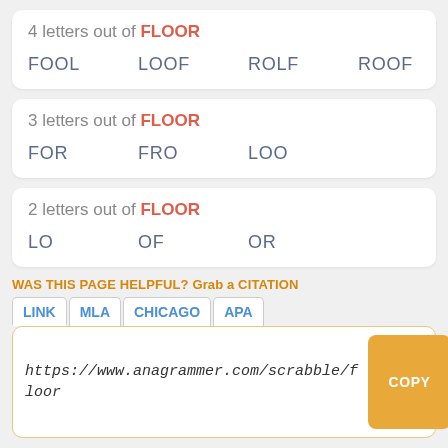4 letters out of FLOOR
FOOL   LOOF   ROLF   ROOF
3 letters out of FLOOR
FOR   FRO   LOO
2 letters out of FLOOR
LO   OF   OR
WAS THIS PAGE HELPFUL? Grab a CITATION
LINK   MLA   CHICAGO   APA
https://www.anagrammer.com/scrabble/floor
Anagrammer is a game resource site that has been extremely